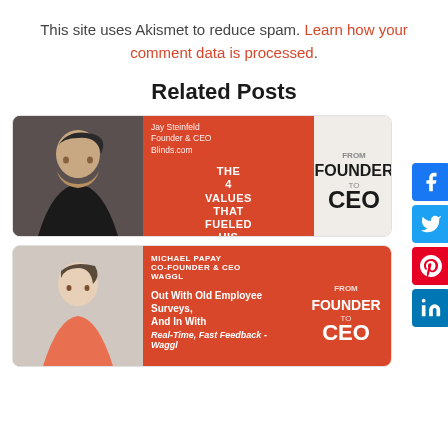This site uses Akismet to reduce spam. Learn how your comment data is processed.
Related Posts
[Figure (illustration): Card for Jay Steinfeld, Founder & CEO Blinds.com - From Founder to CEO podcast. Shows a man in dark shirt with red panel listing 'The 4 Values That Fueled His Success'.]
[Figure (illustration): Card for Michael Papay, Co-Founder & CEO Waggl - From Founder to CEO podcast. Text: 'Out With Old Employee Surveys, And In With Real-Time, Fast Feedback - Waggl'.]